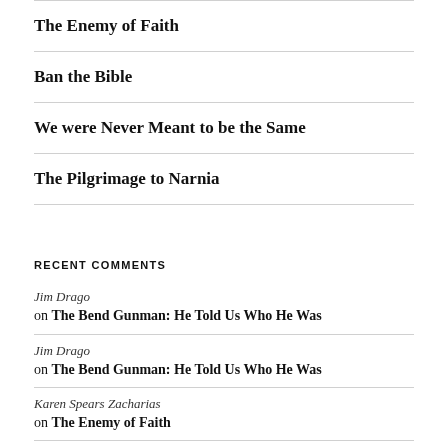The Enemy of Faith
Ban the Bible
We were Never Meant to be the Same
The Pilgrimage to Narnia
RECENT COMMENTS
Jim Drago on The Bend Gunman: He Told Us Who He Was
Jim Drago on The Bend Gunman: He Told Us Who He Was
Karen Spears Zacharias on The Enemy of Faith